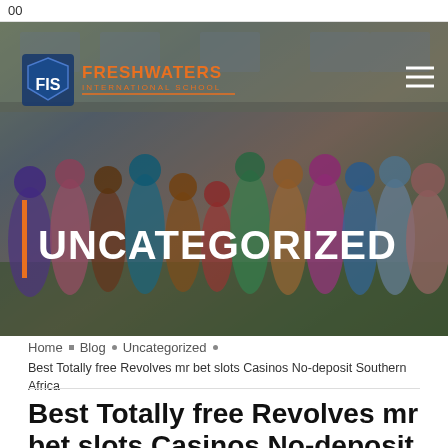00
[Figure (photo): Group of African children in colorful traditional clothing standing in front of a building, overlaid with the Freshwaters International School logo and UNCATEGORIZED heading]
Home • Blog • Uncategorized
Best Totally free Revolves mr bet slots Casinos No-deposit Southern Africa
Best Totally free Revolves mr bet slots Casinos No-deposit Southern Africa